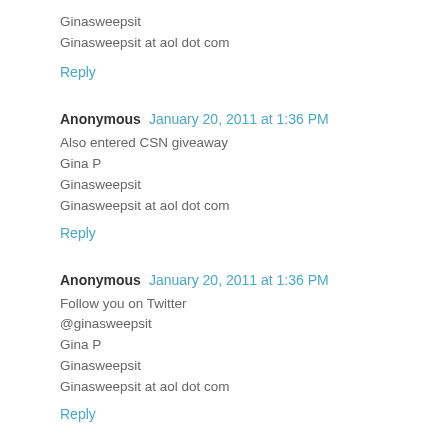Ginasweepsit
Ginasweepsit at aol dot com
Reply
Anonymous  January 20, 2011 at 1:36 PM
Also entered CSN giveaway
Gina P
Ginasweepsit
Ginasweepsit at aol dot com
Reply
Anonymous  January 20, 2011 at 1:36 PM
Follow you on Twitter
@ginasweepsit
Gina P
Ginasweepsit
Ginasweepsit at aol dot com
Reply